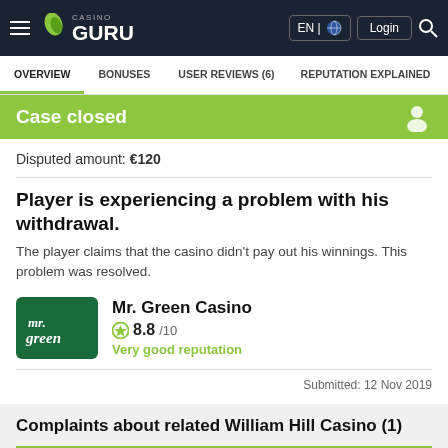Casino Guru
OVERVIEW | BONUSES | USER REVIEWS (6) | REPUTATION EXPLAINED | DIS...
Case closed
Disputed amount: €120
Player is experiencing a problem with his withdrawal.
The player claims that the casino didn't pay out his winnings. This problem was resolved.
Mr. Green Casino
8.8/10
Very good reputation
Submitted: 12 Nov 2019
Complaints about related William Hill Casino (1)
Resolved
Our verdict